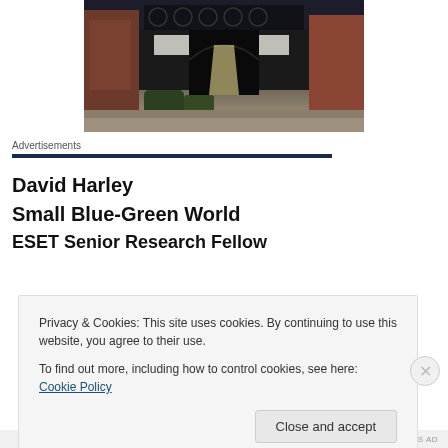[Figure (photo): Exterior architectural photo showing a dark ornate building entrance with arched windows and decorative ironwork, flanked by brick buildings, viewed from a narrow alleyway]
Advertisements
David Harley
Small Blue-Green World
ESET Senior Research Fellow
Privacy & Cookies: This site uses cookies. By continuing to use this website, you agree to their use.
To find out more, including how to control cookies, see here: Cookie Policy